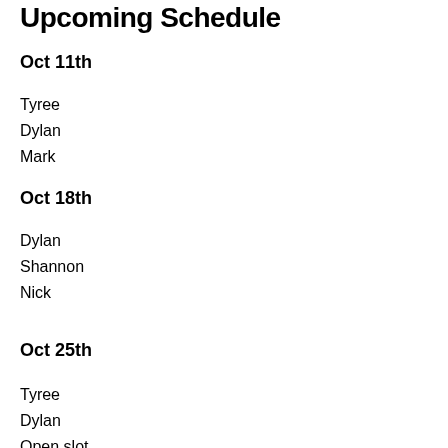Upcoming Schedule
Oct 11th
Tyree
Dylan
Mark
Oct 18th
Dylan
Shannon
Nick
Oct 25th
Tyree
Dylan
Open slot